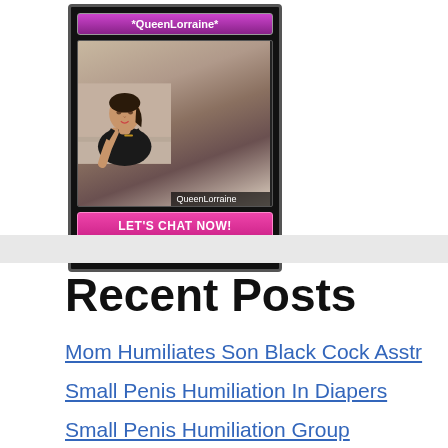[Figure (screenshot): Chat widget showing user *QueenLorraine* with profile photo of a woman in black top, username label 'QueenLorraine', and a pink 'LET'S CHAT NOW!' button with reflection]
Recent Posts
Mom Humiliates Son Black Cock Asstr
Small Penis Humiliation In Diapers
Small Penis Humiliation Group